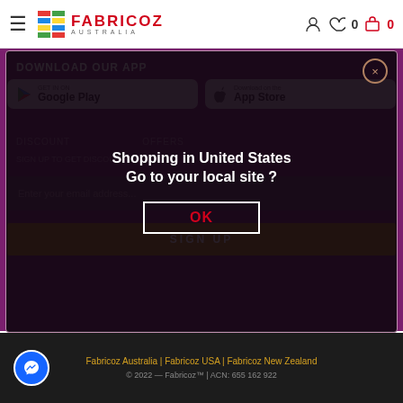[Figure (screenshot): Fabricoz Australia website header with hamburger menu, logo, user icon, heart icon with count 0, and cart icon with count 0]
DOWNLOAD OUR APP
[Figure (screenshot): Google Play and App Store download buttons]
DISCOUNT OFFERS
SIGN UP TO GET DISCOUNT OFFERS:
Enter your email address...
SIGN UP
[Figure (screenshot): Modal dialog: Shopping in United States Go to your local site? with OK button and close X button]
Fabricoz Australia | Fabricoz USA | Fabricoz New Zealand
© 2022 — Fabricoz™ | ACN: 655 162 922